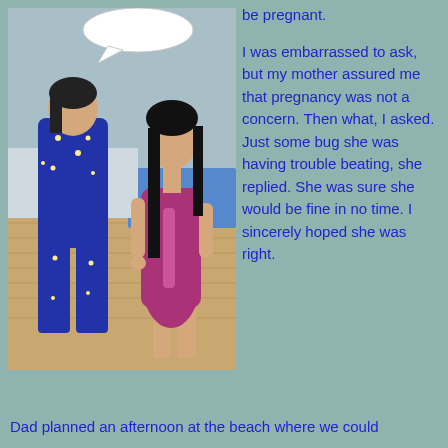[Figure (illustration): A 3D animated/game style image showing two characters standing near a pool or beach area. One character (back to viewer) wears a dark blue outfit with star patterns. The other character is a woman with long black hair wearing a purple/magenta dress. There is a speech bubble above them.]
be pregnant.

I was embarrassed to ask, but my mother assured me that pregnancy was not a concern.  Then what, I asked.  Just some bug she was having trouble beating, she replied.  She was sure she would be fine in no time.  I sincerely hoped she was right.
Dad planned an afternoon at the beach where we could